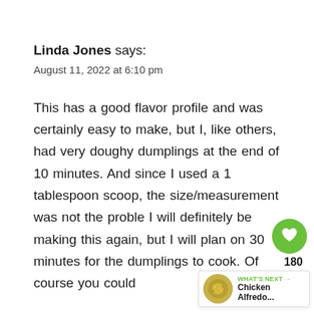Linda Jones says:
August 11, 2022 at 6:10 pm
This has a good flavor profile and was certainly easy to make, but I, like others, had very doughy dumplings at the end of 10 minutes. And since I used a 1 tablespoon scoop, the size/measurement was not the proble I will definitely be making this again, but I will plan on 30 minutes for the dumplings to cook. Of course you could